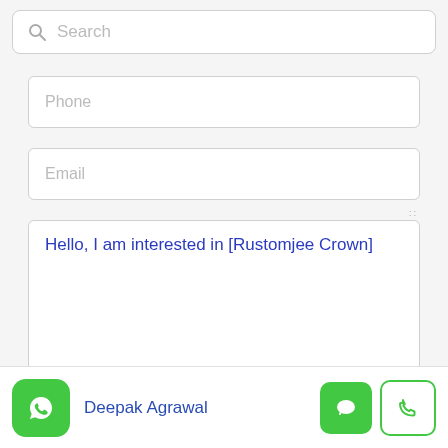[Figure (screenshot): Search bar with magnifying glass icon and placeholder text 'Search']
Phone
Email
Hello, I am interested in [Rustomjee Crown]
By submitting this form I agree to Terms and Conditions
Send Message
Deepak Agrawal